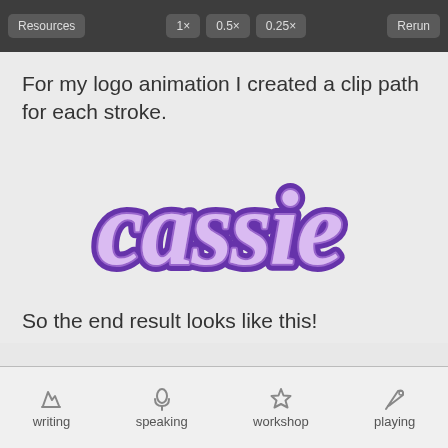[Figure (screenshot): Toolbar with buttons: Resources, 1x, 0.5x, 0.25x, Rerun]
For my logo animation I created a clip path for each stroke.
[Figure (logo): Cassie logo in purple bubble lettering with overlapping strokes]
So the end result looks like this!
writing  speaking  workshop  playing